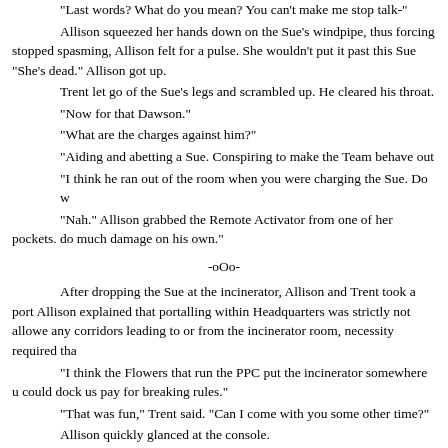"Last words? What do you mean? You can't make me stop talk-"
Allison squeezed her hands down on the Sue's windpipe, thus forcing stopped spasming, Allison felt for a pulse. She wouldn't put it past this Sue "She's dead." Allison got up.
Trent let go of the Sue's legs and scrambled up. He cleared his throat.
"Now for that Dawson."
"What are the charges against him?"
"Aiding and abetting a Sue. Conspiring to make the Team behave out
"I think he ran out of the room when you were charging the Sue. Do w
"Nah." Allison grabbed the Remote Activator from one of her pockets. do much damage on his own."
-oOo-
After dropping the Sue at the incinerator, Allison and Trent took a port Allison explained that portalling within Headquarters was strictly not allowe any corridors leading to or from the incinerator room, necessity required tha
"I think the Flowers that run the PPC put the incinerator somewhere u could dock us pay for breaking rules."
"That was fun," Trent said. "Can I come with you some other time?"
Allison quickly glanced at the console.
"Something wrong?"